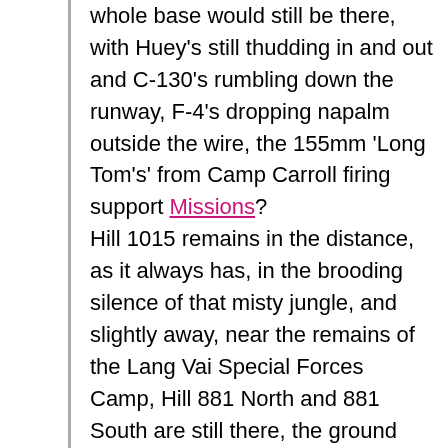whole base would still be there, with Huey's still thudding in and out and C-130's rumbling down the runway, F-4's dropping napalm outside the wire, the 155mm 'Long Tom's' from Camp Carroll firing support Missions? Hill 1015 remains in the distance, as it always has, in the brooding silence of that misty jungle, and slightly away, near the remains of the Lang Vai Special Forces Camp, Hill 881 North and 881 South are still there, the ground has just soaked up those terrible dark times. Nevertheless, in that silence, especially when the crachin, that low, fine drizzle, has not yet burned off in the morning sun, what had once been is still there, one just has to stop, listen to the silence, and the images flow back in. I have found a great many of the old bases